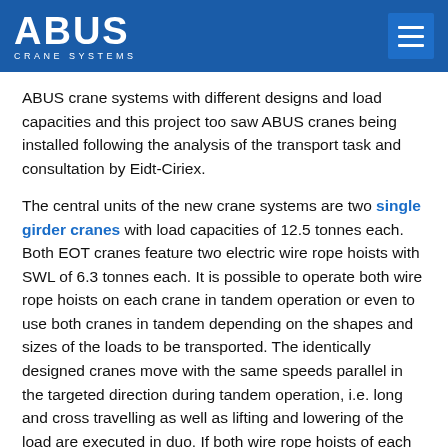ABUS CRANE SYSTEMS
ABUS crane systems with different designs and load capacities and this project too saw ABUS cranes being installed following the analysis of the transport task and consultation by Eidt-Ciriex.
The central units of the new crane systems are two single girder cranes with load capacities of 12.5 tonnes each. Both EOT cranes feature two electric wire rope hoists with SWL of 6.3 tonnes each. It is possible to operate both wire rope hoists on each crane in tandem operation or even to use both cranes in tandem depending on the shapes and sizes of the loads to be transported. The identically designed cranes move with the same speeds parallel in the targeted direction during tandem operation, i.e. long and cross travelling as well as lifting and lowering of the load are executed in duo. If both wire rope hoists of each crane and the cranes themselves are operated in tandem